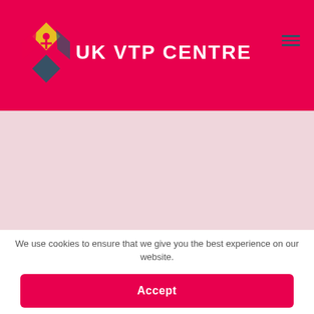[Figure (logo): UK VTP Centre logo with colorful icon and white text on red/crimson background header]
[Figure (photo): Light pink/rose colored main content area below header]
We use cookies to ensure that we give you the best experience on our website.
Accept